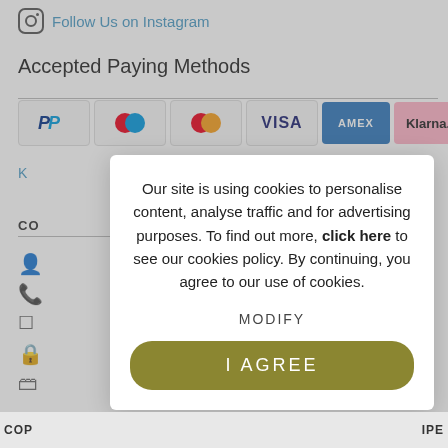[Figure (screenshot): Instagram icon with Follow Us on Instagram link in blue text]
Accepted Paying Methods
[Figure (infographic): Payment method logos: PayPal, Maestro, Mastercard, Visa, American Express, Klarna]
Our site is using cookies to personalise content, analyse traffic and for advertising purposes. To find out more, click here to see our cookies policy. By continuing, you agree to our use of cookies.
MODIFY
I AGREE
COP ... IPE